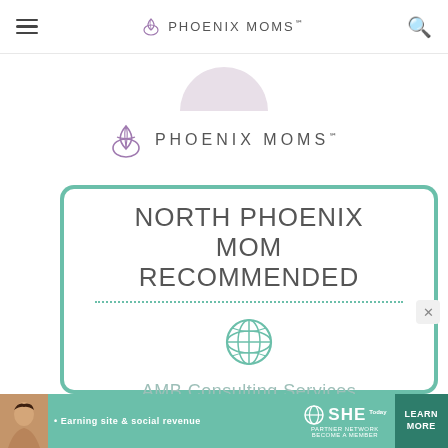PHOENIX MOMS℠
[Figure (logo): Phoenix Moms logo with tulip/lotus icon and text PHOENIX MOMS℠ in purple]
[Figure (infographic): North Phoenix Mom Recommended badge for AMB Consulting Services – Accounting Tax Consulting, teal/mint green card with globe icon]
[Figure (infographic): SHE Partner Network advertisement banner – Earning site and social revenue, Learn More button]